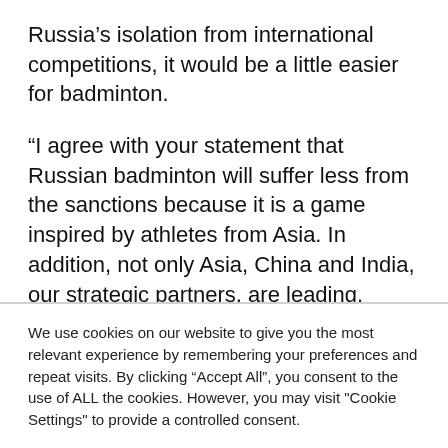Russia’s isolation from international competitions, it would be a little easier for badminton.
“I agree with your statement that Russian badminton will suffer less from the sanctions because it is a game inspired by athletes from Asia. In addition, not only Asia, China and India, our strategic partners, are leading.
We use cookies on our website to give you the most relevant experience by remembering your preferences and repeat visits. By clicking “Accept All”, you consent to the use of ALL the cookies. However, you may visit "Cookie Settings" to provide a controlled consent.
Cookie Settings | Accept All